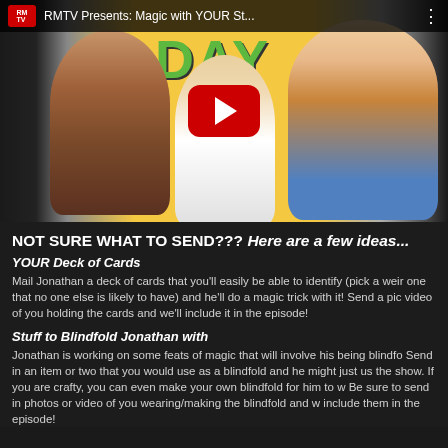[Figure (screenshot): YouTube video thumbnail for 'RMTV Presents: Magic with YOUR St...' showing three people against a yellow background with a green 'DAY' text. A red YouTube play button is centered on the thumbnail. The top bar shows the RMTV logo and video title.]
NOT SURE WHAT TO SEND??? Here are a few ideas...
YOUR Deck of Cards
Mail Jonathan a deck of cards that you'll easily be able to identify (pick a weird one that no one else is likely to have) and he'll do a magic trick with it! Send a pic or video of you holding the cards and we'll include it in the episode!
Stuff to Blindfold Jonathan with
Jonathan is working on some feats of magic that will involve his being blindfolded. Send in an item or two that you would use as a blindfold and he might just use it on the show. If you are crafty, you can even make your own blindfold for him to wear. Be sure to send in photos or video of you wearing/making the blindfold and we'll include them in the episode!